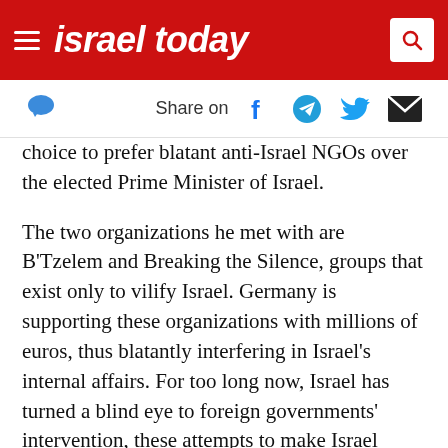israel today
Share on
choice to prefer blatant anti-Israel NGOs over the elected Prime Minister of Israel.
The two organizations he met with are B’Tzelem and Breaking the Silence, groups that exist only to vilify Israel. Germany is supporting these organizations with millions of euros, thus blatantly interfering in Israel’s internal affairs. For too long now, Israel has turned a blind eye to foreign governments’ intervention, these attempts to make Israel capitulate to the European radical left agenda, an agenda that is becoming increasingly antisemitic.
Eldad Beck, a journalist who lived for many years in